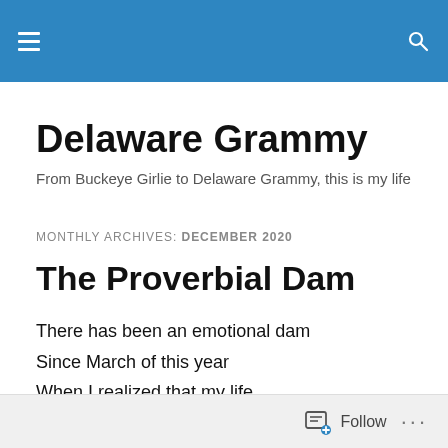Delaware Grammy – site navigation header with hamburger menu and search icon
Delaware Grammy
From Buckeye Girlie to Delaware Grammy, this is my life
MONTHLY ARCHIVES: DECEMBER 2020
The Proverbial Dam
There has been an emotional dam
Since March of this year
When I realized that my life
Was changing.
Follow